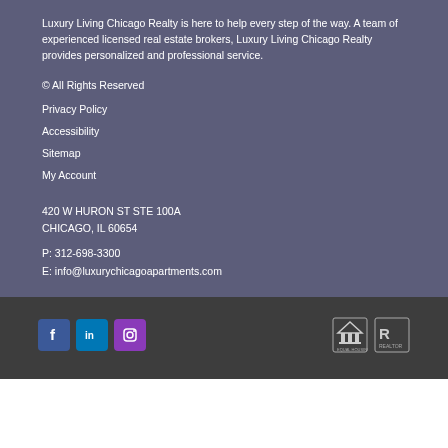Luxury Living Chicago Realty is here to help every step of the way. A team of experienced licensed real estate brokers, Luxury Living Chicago Realty provides personalized and professional service.
© All Rights Reserved
Privacy Policy
Accessibility
Sitemap
My Account
420 W HURON ST STE 100A
CHICAGO, IL 60654
P: 312-698-3300
E: info@luxurychicagoapartments.com
[Figure (other): Social media icons (Facebook, LinkedIn, Instagram) and fair housing / realtor badges]